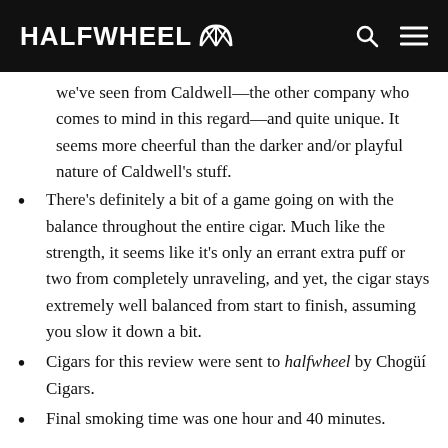HALFWHEEL
we've seen from Caldwell—the other company who comes to mind in this regard—and quite unique. It seems more cheerful than the darker and/or playful nature of Caldwell's stuff.
There's definitely a bit of a game going on with the balance throughout the entire cigar. Much like the strength, it seems like it's only an errant extra puff or two from completely unraveling, and yet, the cigar stays extremely well balanced from start to finish, assuming you slow it down a bit.
Cigars for this review were sent to halfwheel by Chogüí Cigars.
Final smoking time was one hour and 40 minutes.